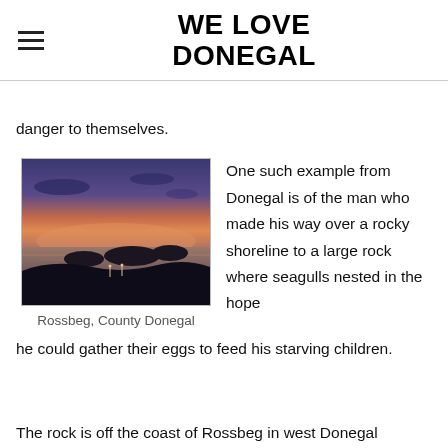WE LOVE DONEGAL
danger to themselves.
[Figure (photo): Sunset or dusk landscape photo of Rossbeg, County Donegal, showing dark silhouette of rocky coastline, islands in calm water, and a gradient sky from deep blue-purple to warm orange-pink near the horizon.]
Rossbeg, County Donegal
One such example from Donegal is of the man who made his way over a rocky shoreline to a large rock where seagulls nested in the hope he could gather their eggs to feed his starving children.
The rock is off the coast of Rossbeg in west Donegal